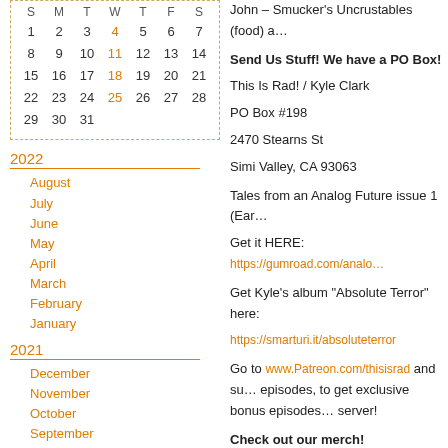| S | M | T | W | T | F | S |
| --- | --- | --- | --- | --- | --- | --- |
| 1 | 2 | 3 | 4 | 5 | 6 | 7 |
| 8 | 9 | 10 | 11 | 12 | 13 | 14 |
| 15 | 16 | 17 | 18 | 19 | 20 | 21 |
| 22 | 23 | 24 | 25 | 26 | 27 | 28 |
| 29 | 30 | 31 |  |  |  |  |
2022
August
July
June
May
April
March
February
January
2021
December
November
October
September
August
July
June
May
April
March
John – Smucker's Uncrustables (food) a…
Send Us Stuff! We have a PO Box!
This Is Rad! / Kyle Clark
PO Box #198
2470 Stearns St
Simi Valley, CA 93063
Tales from an Analog Future issue 1 (Ear…
Get it HERE: https://gumroad.com/analo…
Get Kyle's album "Absolute Terror" here:
https://smarturi.it/absoluteterror
Go to www.Patreon.com/thisisrad and su… episodes, to get exclusive bonus episodes… server!
Check out our merch!
https://www.teepublic.com/stores/this-is-r…